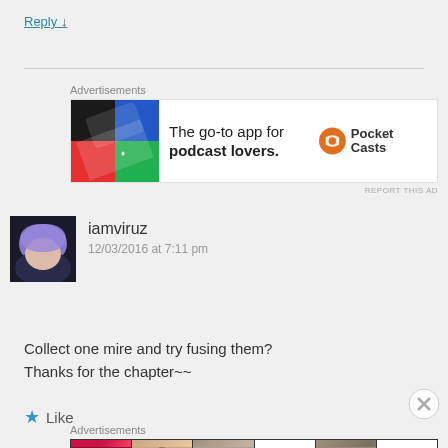Reply ↓
[Figure (other): Advertisement banner for Pocket Casts app: 'The go-to app for podcast lovers.' with Pocket Casts logo]
iamviruz
12/03/2016 at 7:11 pm
Collect one mire and try fusing them?
Thanks for the chapter~~
Like
[Figure (other): Ulta Beauty advertisement banner with makeup images (lips, brush, eye, ULTA logo, eyes, SHOP NOW)]